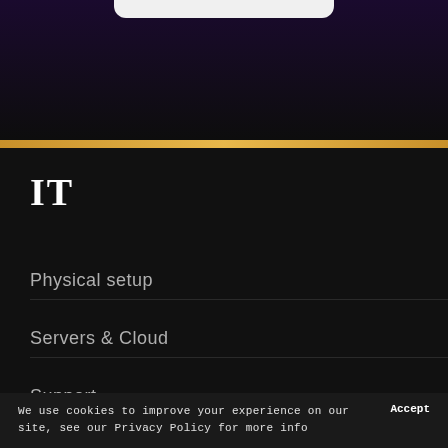[Figure (screenshot): Top navigation bar with dark purple/black gradient background and a white pill-shaped element at the top center, followed by a gold/amber horizontal stripe separator]
IT
Physical setup
Servers & Cloud
Support
Development
We use cookies to improve your experience on our site, see our Privacy Policy for more info
Accept